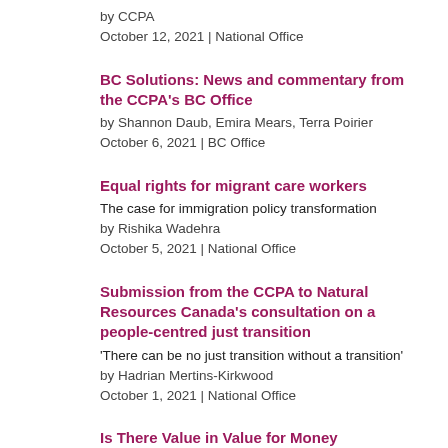by CCPA
October 12, 2021 | National Office
BC Solutions: News and commentary from the CCPA's BC Office
by Shannon Daub, Emira Mears, Terra Poirier
October 6, 2021 | BC Office
Equal rights for migrant care workers
The case for immigration policy transformation
by Rishika Wadehra
October 5, 2021 | National Office
Submission from the CCPA to Natural Resources Canada's consultation on a people-centred just transition
'There can be no just transition without a transition'
by Hadrian Mertins-Kirkwood
October 1, 2021 | National Office
Is There Value in Value for Money